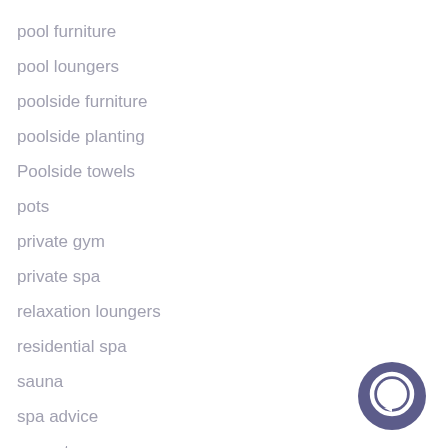pool furniture
pool loungers
poolside furniture
poolside planting
Poolside towels
pots
private gym
private spa
relaxation loungers
residential spa
sauna
spa advice
spa art
spa at home
[Figure (illustration): Dark blue/purple circular chat bubble icon in bottom right corner]